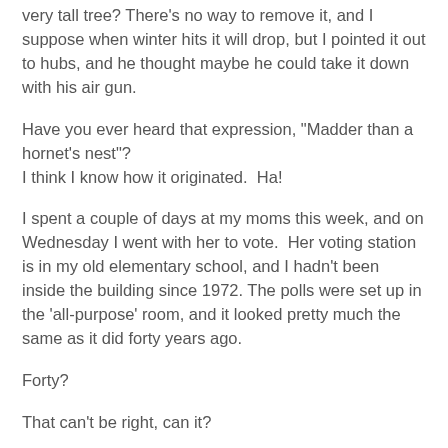very tall tree? There's no way to remove it, and I suppose when winter hits it will drop, but I pointed it out to hubs, and he thought maybe he could take it down with his air gun.
Have you ever heard that expression, "Madder than a hornet's nest"?
I think I know how it originated.  Ha!
I spent a couple of days at my moms this week, and on Wednesday I went with her to vote.  Her voting station is in my old elementary school, and I hadn't been inside the building since 1972. The polls were set up in the 'all-purpose' room, and it looked pretty much the same as it did forty years ago.
Forty?
That can't be right, can it?
I think schools now prefer the term multi-purpose or cafetorinasium or something similar, but I don't  hear them called all-purpose anymore. This truly was an all-purpose